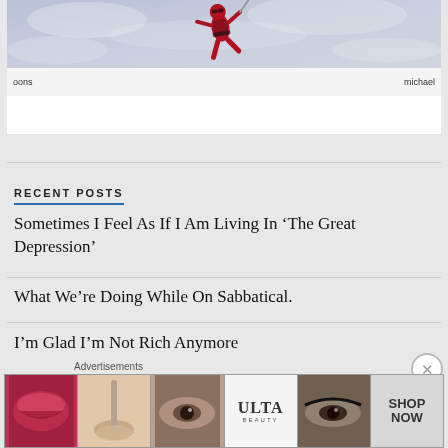[Figure (photo): Partial view of a blog post card showing a superhero character (appears to be Deadpool) floating/jumping against a cloudy grey-blue sky background. Bottom of card shows caption area with 'oons' on left and 'michael' on right.]
RECENT POSTS
Sometimes I Feel As If I Am Living In ‘The Great Depression’
What We’re Doing While On Sabbatical.
I’m Glad I’m Not Rich Anymore
[Figure (photo): Advertisement banner for ULTA Beauty showing close-up beauty images: lips with red lipstick, makeup brush, eye with dramatic makeup, ULTA Beauty logo, eye with smoky makeup, and SHOP NOW text on grey background.]